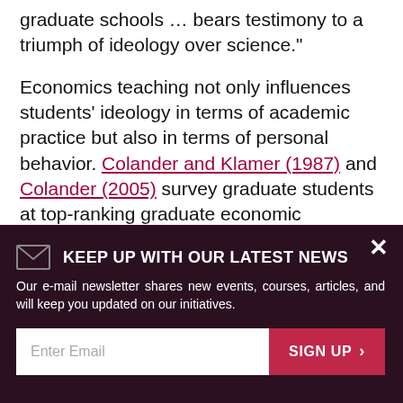also argues that '[economics as taught] in America's graduate schools … bears testimony to a triumph of ideology over science.'
Economics teaching not only influences students' ideology in terms of academic practice but also in terms of personal behavior. Colander and Klamer (1987) and Colander (2005) survey graduate students at top-ranking graduate economic programs in the U.S. and find that, according to these students, techniques are the key to success in graduate school, while
KEEP UP WITH OUR LATEST NEWS
Our e-mail newsletter shares new events, courses, articles, and will keep you updated on our initiatives.